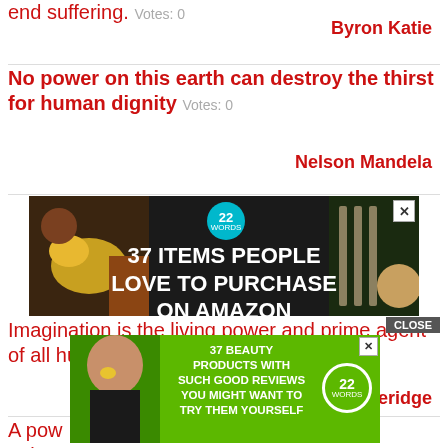end suffering.  Votes: 0
Byron Katie
No power on this earth can destroy the thirst for human dignity  Votes: 0
Nelson Mandela
[Figure (other): Advertisement banner: dark background with food/kitchen items and text '37 ITEMS PEOPLE LOVE TO PURCHASE ON AMAZON' with a teal '22' badge. Close X button top right.]
Imagination is the living power and prime agent of all human perception.  Votes: 0
Samuel Taylor Coleridge
[Figure (other): Advertisement banner with green background: woman with facial mask, text '37 BEAUTY PRODUCTS WITH SUCH GOOD REVIEWS YOU MIGHT WANT TO TRY THEM YOURSELF' with 22 WORDS badge. CLOSE button above.]
A pow... ght to be ...